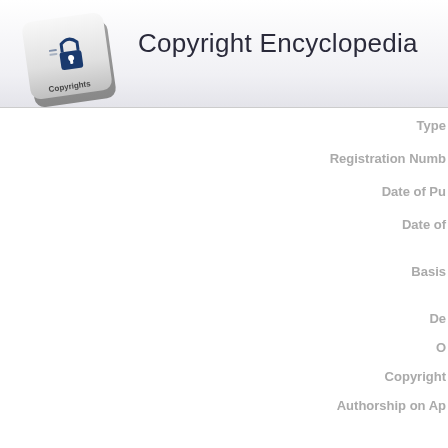[Figure (logo): Copyright Encyclopedia logo — a computer keyboard key with a padlock icon and the word Copyrights on it]
Copyright Encyclopedia
Type
Registration Numb
Date of Pu
Date of
Basis
De
O
Copyright
Authorship on Ap